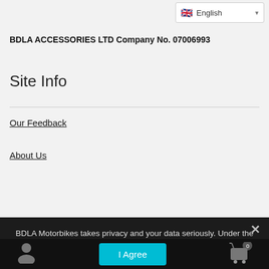English (language selector)
BDLA ACCESSORIES LTD Company No. 07006993
Site Info
Our Feedback
About Us
Privacy
Blog
Site Map
BDLA Motorbikes takes privacy and your data seriously. Under the new GDPR regulations we've updated the way we collect and distribute your data (where necessary). For more information please see our privacy page.
Privacy Preferences
I Agree